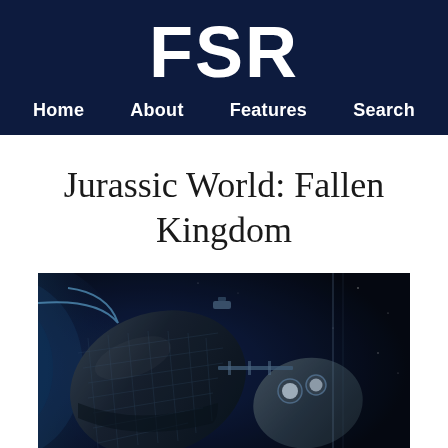FSR
Home   About   Features   Search
Jurassic World: Fallen Kingdom
[Figure (photo): Photograph of a spacecraft or satellite in orbit above Earth, showing detailed mechanical components against a dark space background with Earth's atmosphere visible on the left edge.]